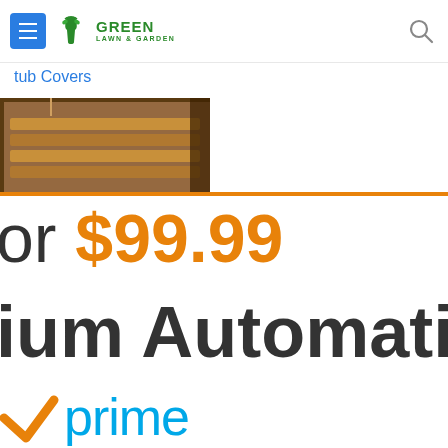GREEN LAWN & GARDEN
tub Covers
[Figure (photo): Product image of a wooden hot tub cover]
or $99.99
ium Automatic Su
[Figure (logo): Amazon Prime logo with orange checkmark and blue 'prime' text]